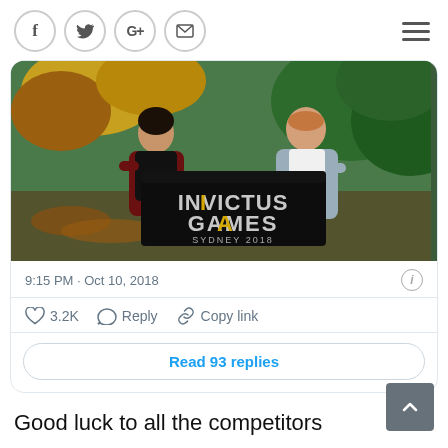Social share bar with icons: f (Facebook), Twitter, G+, Email, and hamburger menu
[Figure (photo): Two people (a woman and a man) holding a large black banner reading 'INVICTUS GAMES SYDNEY 2018' outdoors with trees in the background]
9:15 PM · Oct 10, 2018
3.2K   Reply   Copy link
Read 93 replies
Good luck to all the competitors
From everyone at the Garden we would like to welcome